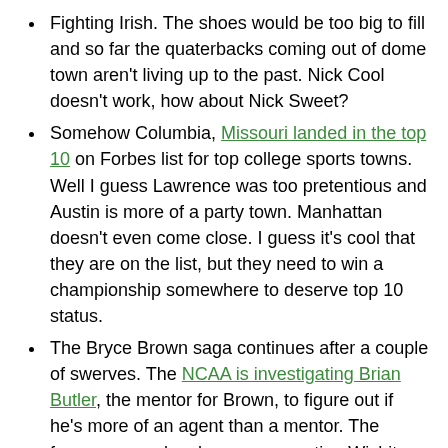Fighting Irish.  The shoes would be too big to fill and so far the quaterbacks coming out of dome town aren't living up to the past.  Nick Cool doesn't work, how about Nick Sweet?
Somehow Columbia, Missouri landed in the top 10 on Forbes list for top college sports towns.  Well I guess Lawrence was too pretentious and Austin is more of a party town.  Manhattan doesn't even come close.  I guess it's cool that they are on the list, but they need to win a championship somewhere to deserve top 10 status.
The Bryce Brown saga continues after a couple of swerves.  The NCAA is investigating Brian Butler, the mentor for Brown, to figure out if he's more of an agent than a mentor.  The former rapper has been representing Wichita football players and pimping them on his website.  Not sure there's much mentoring there.  Meanwhile, some rumor mongering points to Oklahoma being on the sweepstakes for Brown.  I'm not sure they'll pull him in late, but the fact that Kansas State is on the list still is laughable.  Maybe Brown will lose so much cred out of this that he'll walk on to Wildcat